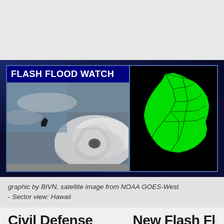[Figure (infographic): Flash Flood Watch graphic by BIVN. Left panel shows 'FLASH FLOOD WATCH' text over a satellite image of a hurricane near Hawaii from NOAA GOES-West. Right panel shows a green-filled map of the Big Island of Hawaii with county/district boundary lines, indicating the watch area.]
graphic by BIVN, satellite image from NOAA GOES-West - Sector view: Hawaii
Civil Defense...